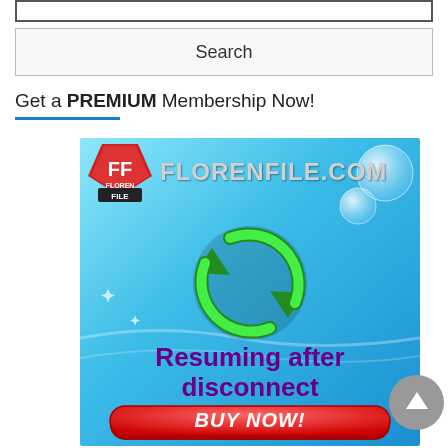Search
Get a PREMIUM Membership Now!
[Figure (illustration): FlorenFile.com advertisement banner with FF logo, green refresh/sync arrows icon, text 'Resuming after disconnect', and a red 'BUY NOW!' button on a blue gradient background]